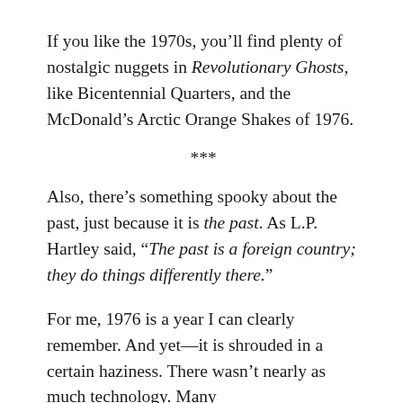If you like the 1970s, you'll find plenty of nostalgic nuggets in Revolutionary Ghosts, like Bicentennial Quarters, and the McDonald's Arctic Orange Shakes of 1976.
***
Also, there's something spooky about the past, just because it is the past. As L.P. Hartley said, “The past is a foreign country; they do things differently there.”
For me, 1976 is a year I can clearly remember. And yet—it is shrouded in a certain haziness. There wasn't nearly as much technology. Many